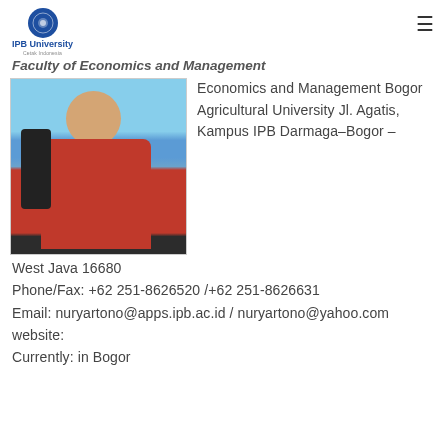IPB University
Faculty of Economics and Management
[Figure (photo): Photo of a person wearing a red jacket outdoors near water]
Economics and Management Bogor Agricultural University Jl. Agatis, Kampus IPB Darmaga-Bogor – West Java 16680
Phone/Fax: +62 251-8626520 /+62 251-8626631
Email: nuryartono@apps.ipb.ac.id / nuryartono@yahoo.com
website:
Currently: in Bogor